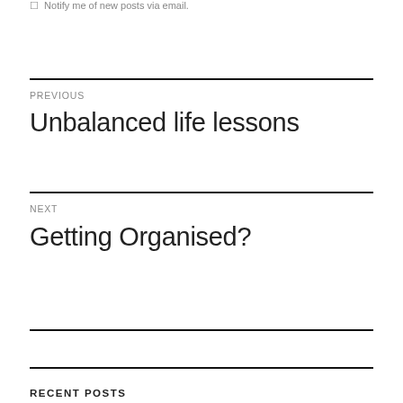Notify me of new posts via email.
PREVIOUS
Unbalanced life lessons
NEXT
Getting Organised?
RECENT POSTS